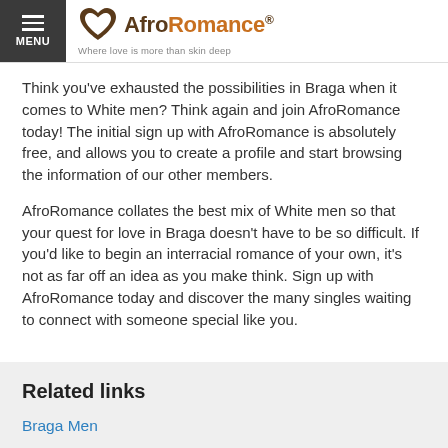[Figure (logo): AfroRomance logo with heart icon and tagline 'Where love is more than skin deep']
Think you've exhausted the possibilities in Braga when it comes to White men? Think again and join AfroRomance today! The initial sign up with AfroRomance is absolutely free, and allows you to create a profile and start browsing the information of our other members.
AfroRomance collates the best mix of White men so that your quest for love in Braga doesn't have to be so difficult. If you'd like to begin an interracial romance of your own, it's not as far off an idea as you make think. Sign up with AfroRomance today and discover the many singles waiting to connect with someone special like you.
Related links
Braga Men
Braga Asian Men
Braga Black Men